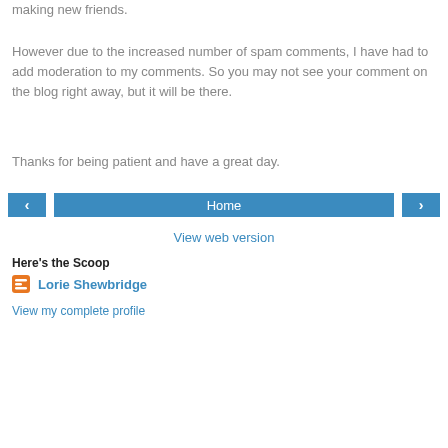I truly love connecting with other people and making new friends.
However due to the increased number of spam comments, I have had to add moderation to my comments. So you may not see your comment on the blog right away, but it will be there.
Thanks for being patient and have a great day.
[Figure (screenshot): Navigation bar with left arrow button, Home button, and right arrow button, all in blue]
View web version
Here's the Scoop
Lorie Shewbridge
View my complete profile